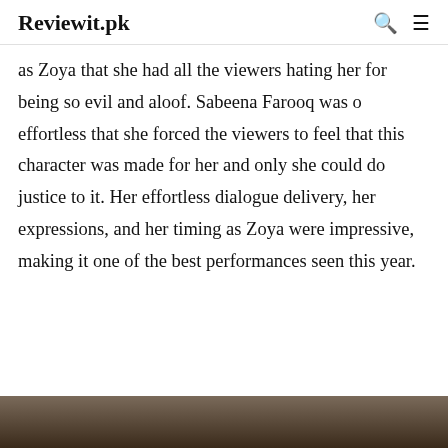Reviewit.pk
as Zoya that she had all the viewers hating her for being so evil and aloof. Sabeena Farooq was o effortless that she forced the viewers to feel that this character was made for her and only she could do justice to it. Her effortless dialogue delivery, her expressions, and her timing as Zoya were impressive, making it one of the best performances seen this year.
[Figure (photo): Partial view of a photo at the bottom of the page, showing what appears to be people or a scene, partially cropped.]